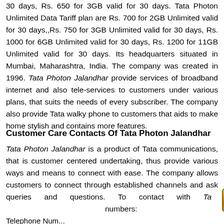30 days, Rs. 650 for 3GB valid for 30 days. Tata Photon Unlimited Data Tariff plan are Rs. 700 for 2GB Unlimited valid for 30 days,,Rs. 750 for 3GB Unlimited valid for 30 days, Rs. 1000 for 6GB Unlimited valid for 30 days, Rs. 1200 for 11GB Unlimited valid for 30 days. Its headquarters situated in Mumbai, Maharashtra, India. The company was created in 1996. Tata Photon Jalandhar provide services of broadband internet and also tele-services to customers under various plans, that suits the needs of every subscriber. The company also provide Tata walky phone to customers that aids to make home stylish and contains more features.
Customer Care Contacts Of Tata Photon Jalandhar
Tata Photon Jalandhar is a product of Tata communications, that is customer centered undertaking, thus provide various ways and means to connect with ease. The company allows customers to connect through established channels and ask queries and questions. To contact with Tata Photon Jalandhar numbers:
Telephone Num...